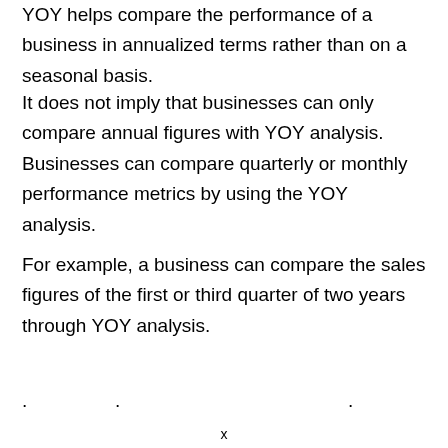YOY helps compare the performance of a business in annualized terms rather than on a seasonal basis.
It does not imply that businesses can only compare annual figures with YOY analysis. Businesses can compare quarterly or monthly performance metrics by using the YOY analysis.
For example, a business can compare the sales figures of the first or third quarter of two years through YOY analysis.
. . . . . . .
x